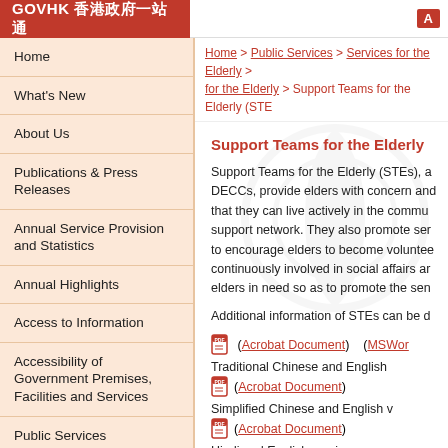GovHK 香港政府一站通
Home > Public Services > Services for the Elderly > for the Elderly > Support Teams for the Elderly (STE
Home
What's New
About Us
Publications & Press Releases
Annual Service Provision and Statistics
Annual Highlights
Access to Information
Accessibility of Government Premises, Facilities and Services
Public Services
Districts Information
Support Teams for the Elderly
Support Teams for the Elderly (STEs), a DECCs, provide elders with concern and that they can live actively in the commu support network. They also promote ser to encourage elders to become voluntee continuously involved in social affairs ar elders in need so as to promote the sen
Additional information of STEs can be d
(Acrobat Document)    (MSWor
Traditional Chinese and English
( Acrobat Document )
Simplified Chinese and English v
( Acrobat Document )
Hindi and English versions